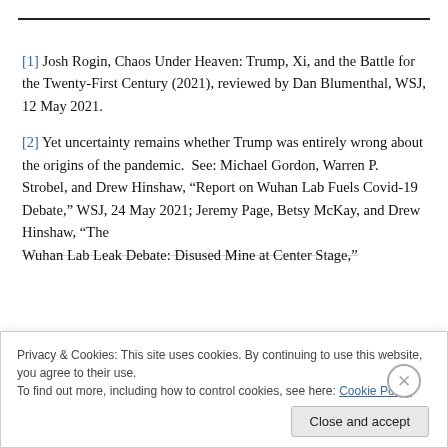[1] Josh Rogin, Chaos Under Heaven: Trump, Xi, and the Battle for the Twenty-First Century (2021), reviewed by Dan Blumenthal, WSJ, 12 May 2021.
[2] Yet uncertainty remains whether Trump was entirely wrong about the origins of the pandemic.  See: Michael Gordon, Warren P. Strobel, and Drew Hinshaw, “Report on Wuhan Lab Fuels Covid-19 Debate,” WSJ, 24 May 2021; Jeremy Page, Betsy McKay, and Drew Hinshaw, “The Wuhan Lab Leak Debate: Disused Mine at Center Stage,”
Privacy & Cookies: This site uses cookies. By continuing to use this website, you agree to their use. To find out more, including how to control cookies, see here: Cookie Policy